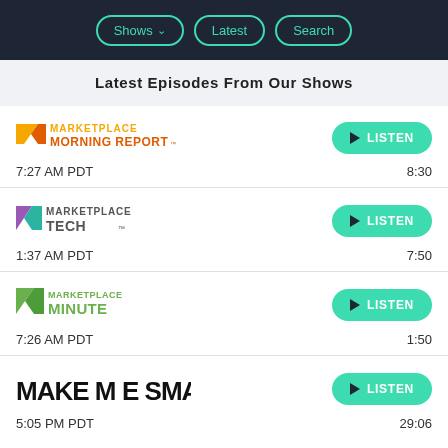Shows  Latest  Search
Latest Episodes From Our Shows
[Figure (logo): Marketplace Morning Report logo]
7:27 AM PDT   8:30
[Figure (logo): Marketplace Tech logo]
1:37 AM PDT   7:50
[Figure (logo): Marketplace Minute logo]
7:26 AM PDT   1:50
[Figure (logo): Make Me Smart logo]
5:05 PM PDT   29:06